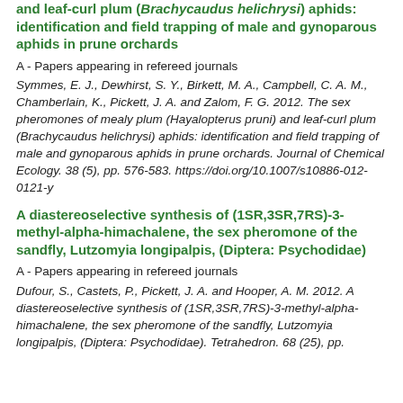and leaf-curl plum (Brachycaudus helichrysi) aphids: identification and field trapping of male and gynoparous aphids in prune orchards
A - Papers appearing in refereed journals
Symmes, E. J., Dewhirst, S. Y., Birkett, M. A., Campbell, C. A. M., Chamberlain, K., Pickett, J. A. and Zalom, F. G. 2012. The sex pheromones of mealy plum (Hayalopterus pruni) and leaf-curl plum (Brachycaudus helichrysi) aphids: identification and field trapping of male and gynoparous aphids in prune orchards. Journal of Chemical Ecology. 38 (5), pp. 576-583. https://doi.org/10.1007/s10886-012-0121-y
A diastereoselective synthesis of (1SR,3SR,7RS)-3-methyl-alpha-himachalene, the sex pheromone of the sandfly, Lutzomyia longipalpis, (Diptera: Psychodidae)
A - Papers appearing in refereed journals
Dufour, S., Castets, P., Pickett, J. A. and Hooper, A. M. 2012. A diastereoselective synthesis of (1SR,3SR,7RS)-3-methyl-alpha-himachalene, the sex pheromone of the sandfly, Lutzomyia longipalpis, (Diptera: Psychodidae). Tetrahedron. 68 (25), pp.